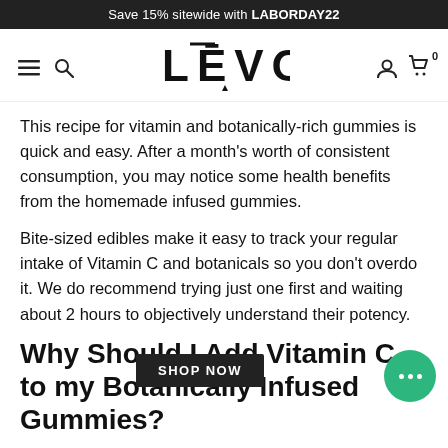Save 15% sitewide with LABORDAY22
[Figure (logo): LEVO brand logo with overbar on E and drop icon below]
This recipe for vitamin and botanically-rich gummies is quick and easy. After a month's worth of consistent consumption, you may notice some health benefits from the homemade infused gummies.
Bite-sized edibles make it easy to track your regular intake of Vitamin C and botanicals so you don't overdo it. We do recommend trying just one first and waiting about 2 hours to objectively understand their potency.
Why Should I Add Vitamin C to my Botanically Infused Gummies?
Vitamin C increases blood antioxidant levels which are